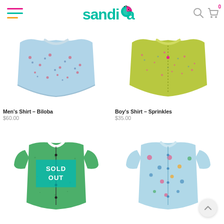sandia – navigation header with hamburger menu, logo, search and cart icons
Men's Shirt - Biloba
$60.00
Boy's Shirt - Sprinkles
$35.00
[Figure (photo): Men's floral button-up shirt with blue/pink pattern (Biloba), cropped view]
[Figure (photo): Boy's yellow/green shirt with small pattern (Sprinkles), cropped view]
[Figure (photo): Green short-sleeve button-up shirt with SOLD OUT overlay badge]
[Figure (photo): Light blue short-sleeve button-up shirt with colorful pattern]